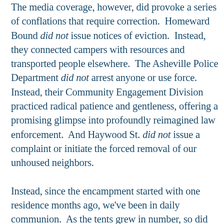The media coverage, however, did provoke a series of conflations that require correction. Homeward Bound did not issue notices of eviction. Instead, they connected campers with resources and transported people elsewhere. The Asheville Police Department did not arrest anyone or use force. Instead, their Community Engagement Division practiced radical patience and gentleness, offering a promising glimpse into profoundly reimagined law enforcement. And Haywood St. did not issue a complaint or initiate the forced removal of our unhoused neighbors.

Instead, since the encampment started with one residence months ago, we've been in daily communion. As the tents grew in number, so did our relational response: sharing life together in nylon living rooms, marveling at the sun setting west, de-